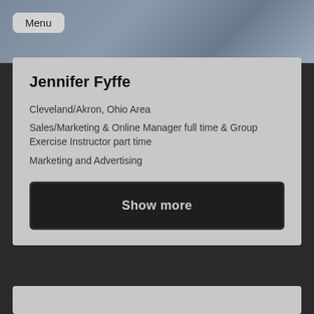[Figure (photo): Background photo of a person, partially visible at top of page]
Menu
Jennifer Fyffe
Cleveland/Akron, Ohio Area
Sales/Marketing & Online Manager full time & Group Exercise Instructor part time
Marketing and Advertising
Show more